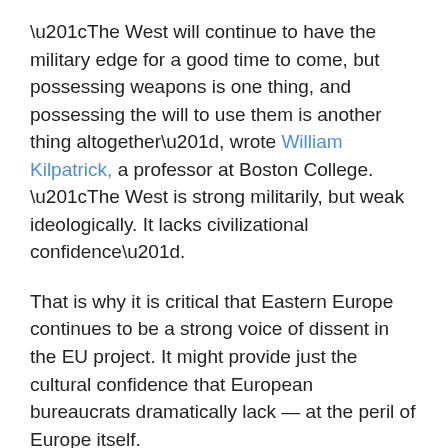“The West will continue to have the military edge for a good time to come, but possessing weapons is one thing, and possessing the will to use them is another thing altogether”, wrote William Kilpatrick, a professor at Boston College. “The West is strong militarily, but weak ideologically. It lacks civilizational confidence”.
That is why it is critical that Eastern Europe continues to be a strong voice of dissent in the EU project. It might provide just the cultural confidence that European bureaucrats dramatically lack — at the peril of Europe itself.
Giulio Meotti, Cultural Editor for Il Foglio, is an Italian journalist and author.